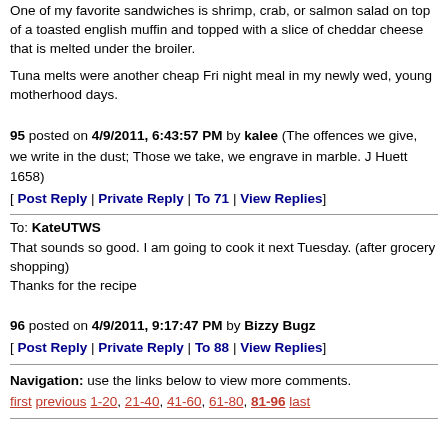One of my favorite sandwiches is shrimp, crab, or salmon salad on top of a toasted english muffin and topped with a slice of cheddar cheese that is melted under the broiler.
Tuna melts were another cheap Fri night meal in my newly wed, young motherhood days.
95 posted on 4/9/2011, 6:43:57 PM by kalee (The offences we give, we write in the dust; Those we take, we engrave in marble. J Huett 1658)
[ Post Reply | Private Reply | To 71 | View Replies]
To: KateUTWS
That sounds so good. I am going to cook it next Tuesday. (after grocery shopping)
Thanks for the recipe
96 posted on 4/9/2011, 9:17:47 PM by Bizzy Bugz
[ Post Reply | Private Reply | To 88 | View Replies]
Navigation: use the links below to view more comments.
first previous 1-20, 21-40, 41-60, 61-80, 81-96 last